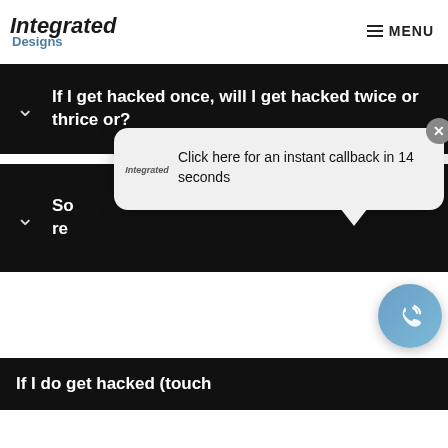Integrated Designs | MENU
If I get hacked once, will I get hacked twice or thrice or?
So... [partially obscured by popup]
[Figure (screenshot): Chat callback popup bubble with Integrated Designs logo and text: Click here for an instant callback in 14 seconds. Close button (×) in top right.]
If I do get hacked (touch...